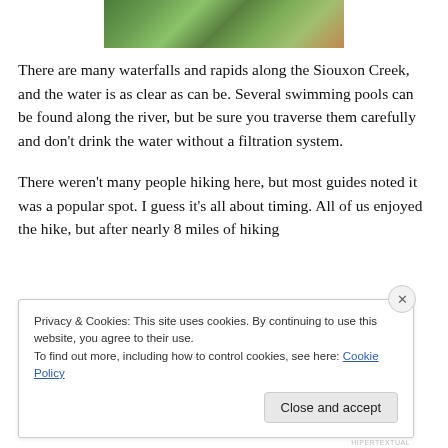[Figure (photo): Partial photo of forest/nature scene showing green foliage and earthy tones, cropped at top of page]
There are many waterfalls and rapids along the Siouxon Creek, and the water is as clear as can be. Several swimming pools can be found along the river, but be sure you traverse them carefully and don't drink the water without a filtration system.
There weren't many people hiking here, but most guides noted it was a popular spot. I guess it's all about timing. All of us enjoyed the hike, but after nearly 8 miles of hiking
Privacy & Cookies: This site uses cookies. By continuing to use this website, you agree to their use.
To find out more, including how to control cookies, see here: Cookie Policy
Close and accept